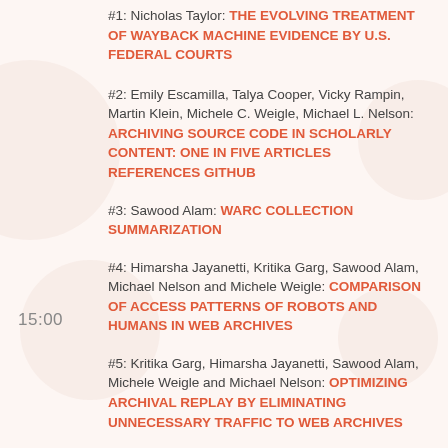#1: Nicholas Taylor: THE EVOLVING TREATMENT OF WAYBACK MACHINE EVIDENCE BY U.S. FEDERAL COURTS
#2: Emily Escamilla, Talya Cooper, Vicky Rampin, Martin Klein, Michele C. Weigle, Michael L. Nelson: ARCHIVING SOURCE CODE IN SCHOLARLY CONTENT: ONE IN FIVE ARTICLES REFERENCES GITHUB
#3: Sawood Alam: WARC COLLECTION SUMMARIZATION
#4: Himarsha Jayanetti, Kritika Garg, Sawood Alam, Michael Nelson and Michele Weigle: COMPARISON OF ACCESS PATTERNS OF ROBOTS AND HUMANS IN WEB ARCHIVES
#5: Kritika Garg, Himarsha Jayanetti, Sawood Alam, Michele Weigle and Michael Nelson: OPTIMIZING ARCHIVAL REPLAY BY ELIMINATING UNNECESSARY TRAFFIC TO WEB ARCHIVES